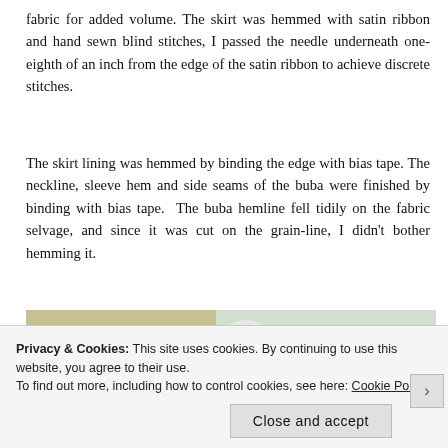fabric for added volume. The skirt was hemmed with satin ribbon and hand sewn blind stitches, I passed the needle underneath one-eighth of an inch from the edge of the satin ribbon to achieve discrete stitches.
The skirt lining was hemmed by binding the edge with bias tape. The neckline, sleeve hem and side seams of the buba were finished by binding with bias tape.  The buba hemline fell tidily on the fabric selvage, and since it was cut on the grain-line, I didn’t bother hemming it.
[Figure (photo): Two side-by-side photos of garments on dress forms. Left photo shows a floral print top/buba on a white mannequin against a beige wall. Right photo shows a close-up of a neckline with white bias tape binding on a green and white printed fabric.]
Privacy & Cookies: This site uses cookies. By continuing to use this website, you agree to their use.
To find out more, including how to control cookies, see here: Cookie Policy
Close and accept